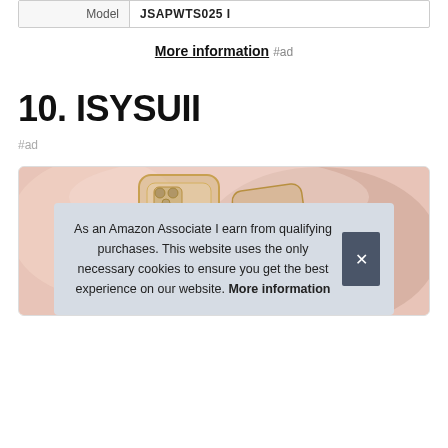| Model |  |
| --- | --- |
| Model | JSAPWTS025 I |
More information #ad
10. ISYSUII
#ad
[Figure (photo): Product photo of a phone case on a pink background]
As an Amazon Associate I earn from qualifying purchases. This website uses the only necessary cookies to ensure you get the best experience on our website. More information